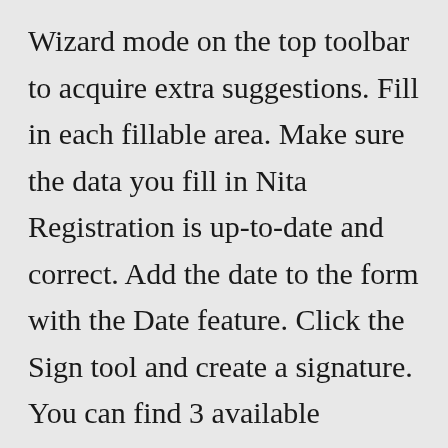Wizard mode on the top toolbar to acquire extra suggestions. Fill in each fillable area. Make sure the data you fill in Nita Registration is up-to-date and correct. Add the date to the form with the Date feature. Click the Sign tool and create a signature. You can find 3 available alternatives; typing, drawing, or capturing one. Aug 07, 2021 · Nita application for employment form 2019 Squarespace. We recommend